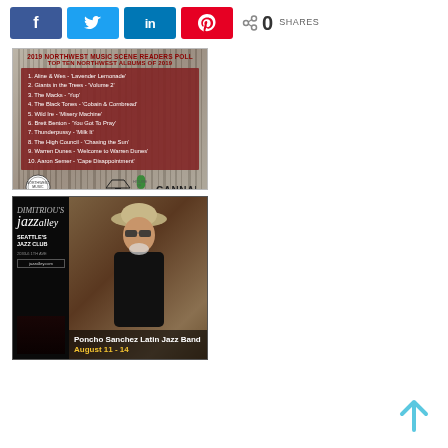[Figure (screenshot): Social media share buttons: Facebook (f), Twitter (bird), LinkedIn (in), Pinterest (p), and share count showing 0 SHARES]
[Figure (infographic): 2019 Northwest Music Scene Readers Poll - Top Ten Northwest Albums of 2019 list sponsored by House of Cannabis. List: 1. Aline & Wes - 'Lavender Lemonade', 2. Giants in the Trees - 'Volume 2', 3. The Macks - 'Yup', 4. The Black Tones - 'Cobain & Cornbread', 5. Wild Ire - 'Misery Machine', 6. Brett Benton - 'You Got To Pray', 7. Thunderpussy - 'Milk It', 8. The High Council - 'Chasing the Sun', 9. Warren Dunes - 'Welcome to Warren Dunes', 10. Aaron Semer - 'Cape Disappointment']
[Figure (photo): Jazz Alley advertisement featuring Poncho Sanchez Latin Jazz Band, August 11-14. Shows man with sunglasses and hat. Seattle's Jazz Club, 2033-6 1th Ave, jazzalley.com]